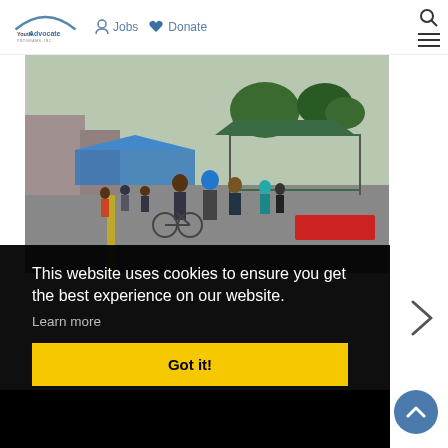Youth Advocate Programs, Inc. | Jobs | Donate
[Figure (photo): Outdoor community event on a street with tents, a crowd of people, a bicycle, and a mini golf setup under a green canopy tent. Trees and buildings visible in the background.]
This website uses cookies to ensure you get the best experience on our website.
Learn more
Got it!